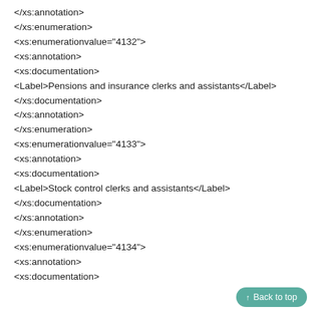</xs:annotation>
</xs:enumeration>
<xs:enumerationvalue="4132">
<xs:annotation>
<xs:documentation>
<Label>Pensions and insurance clerks and assistants</Label>
</xs:documentation>
</xs:annotation>
</xs:enumeration>
<xs:enumerationvalue="4133">
<xs:annotation>
<xs:documentation>
<Label>Stock control clerks and assistants</Label>
</xs:documentation>
</xs:annotation>
</xs:enumeration>
<xs:enumerationvalue="4134">
<xs:annotation>
<xs:documentation>